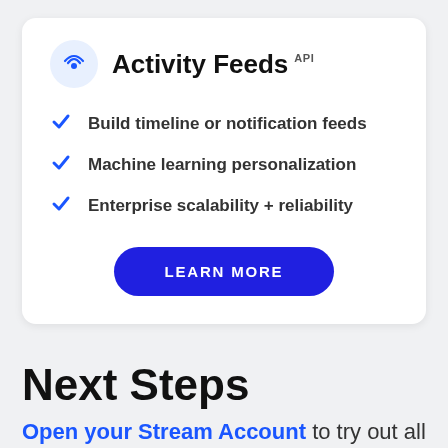Activity Feeds API
Build timeline or notification feeds
Machine learning personalization
Enterprise scalability + reliability
LEARN MORE
Next Steps
Open your Stream Account to try out all our